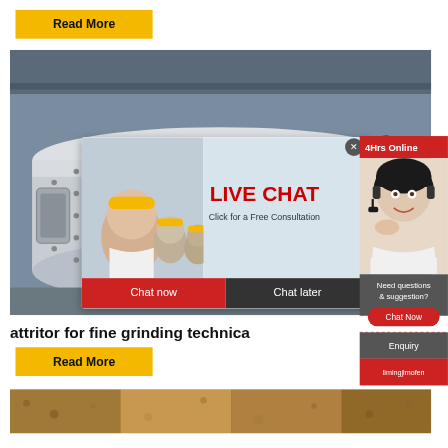Read More
[Figure (photo): Industrial photo of a large cylindrical ball mill or grinding vessel in a factory setting, with workers wearing yellow hard hats in the foreground]
[Figure (screenshot): Live chat popup overlay showing workers with yellow hard hats, 'LIVE CHAT' text in red, 'Click for a Free Consultation' subtitle, and Chat now / Chat later buttons]
[Figure (photo): Sidebar showing '4Hrs Online' banner in red, customer service representative with headset, 'Need questions & suggestion?' text, Chat Now button, Enquiry link, and limingjlmofen brand link]
attritor for fine grinding technica
Read More
[Figure (photo): Bottom strip showing a partial photo, appears to be an industrial or mineral/ore material]